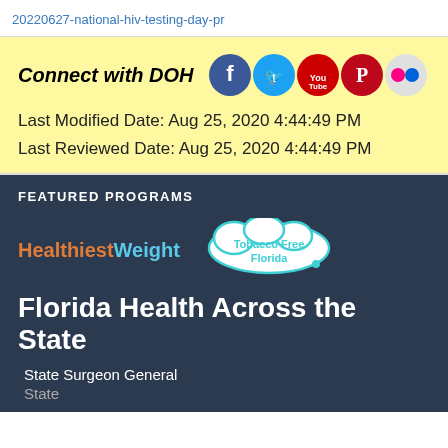20220627-national-hiv-testing-day-pr
Connect with DOH
Last Modified Date: Aug 25, 2020 4:44:49 PM
Last Reviewed Date: Aug 25, 2020 4:44:49 PM
FEATURED PROGRAMS
[Figure (logo): HealthiestWeight logo in orange and blue text]
[Figure (logo): Tobacco Free Florida logo in a cloud shape with teal border]
Florida Health Across the State
State Surgeon General
State...